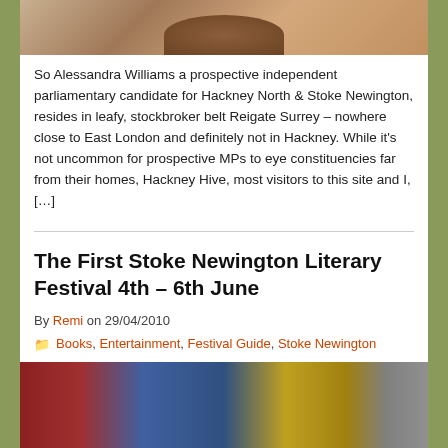[Figure (photo): Partial photo of a person's face (Alessandra Williams), cropped at top]
So Alessandra Williams a prospective independent parliamentary candidate for Hackney North & Stoke Newington, resides in leafy, stockbroker belt Reigate Surrey – nowhere close to East London and definitely not in Hackney. While it's not uncommon for prospective MPs to eye constituencies far from their homes, Hackney Hive, most visitors to this site and I, […]
The First Stoke Newington Literary Festival 4th – 6th June
By Remi on 29/04/2010
Books, Entertainment, Festival Guide, Stoke Newington
[Figure (photo): Photo of colorful book spines arranged together — red, blue, and aged yellow/brown books]